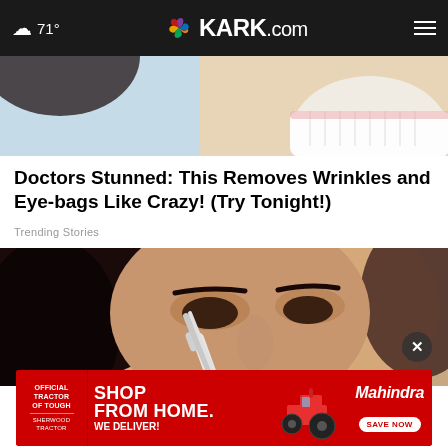71° KARK.com
[Figure (photo): Cropped photo showing smiling teeth at top]
Doctors Stunned: This Removes Wrinkles and Eye-bags Like Crazy! (Try Tonight!)
Trending Stories
[Figure (photo): Close-up photo of a woman applying something near her eye with a white applicator]
[Figure (photo): Advertisement banner: Official Tractor of Tough / Sherwood Tractor - SHOP FROM HOME. WE DELIVER! - Mahindra - SAVE NOW]